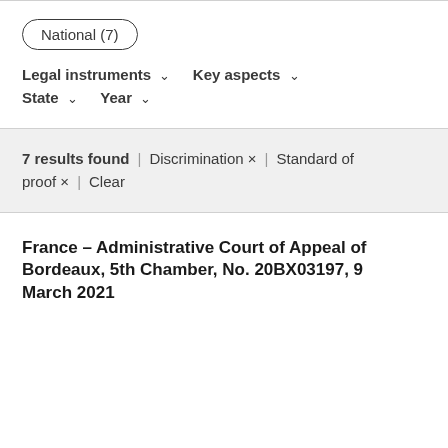National (7)
Legal instruments ∨   Key aspects ∨   State ∨   Year ∨
7 results found | Discrimination × | Standard of proof × | Clear
France – Administrative Court of Appeal of Bordeaux, 5th Chamber, No. 20BX03197, 9 March 2021